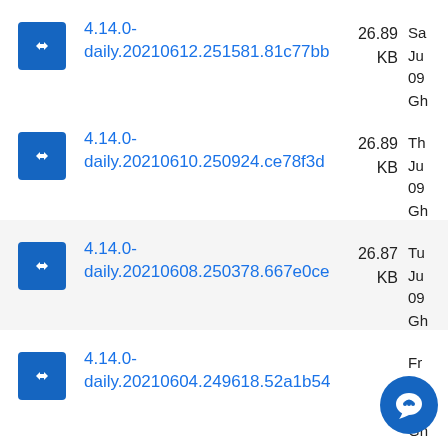4.14.0-daily.20210612.251581.81c77bb  26.89 KB  Sa Ju 09 Gh
4.14.0-daily.20210610.250924.ce78f3d  26.89 KB  Th Ju 09 Gh
4.14.0-daily.20210608.250378.667e0ce  26.87 KB  Tu Ju 09 Gh
4.14.0-daily.20210604.249618.52a1b54  Ju 09 Gh  Fr